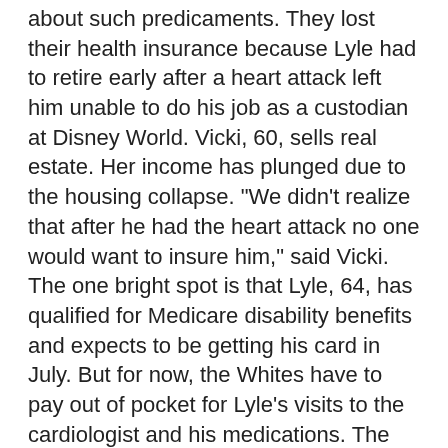about such predicaments. They lost their health insurance because Lyle had to retire early after a heart attack left him unable to do his job as a custodian at Disney World. Vicki, 60, sells real estate. Her income has plunged due to the housing collapse. "We didn't realize that after he had the heart attack no one would want to insure him," said Vicki. The one bright spot is that Lyle, 64, has qualified for Medicare disability benefits and expects to be getting his card in July. But for now, the Whites have to pay out of pocket for Lyle's visits to the cardiologist and his medications. The bills came to about $5,000 last year. That put a strain on their limited budget because they are still making payments on their house and car.
"I never thought when we got to this age that we would be in such a mess," said Vicki, who has been married to Lyle for 43 years. "We didn't think we would have a heart attack and it would change our life forever." While her own health is